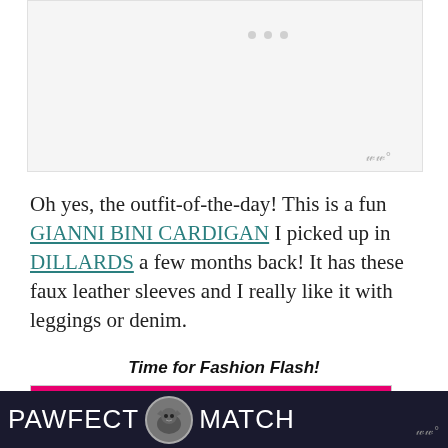[Figure (photo): Fashion/outfit photo placeholder area, light gray background]
Oh yes, the outfit-of-the-day!  This is a fun GIANNI BINI CARDIGAN I picked up in DILLARDS a few months back!  It has these faux leather sleeves and I really like it with leggings or denim.
Time for Fashion Flash!
[Figure (photo): Pink/magenta banner image at bottom of article]
[Figure (screenshot): Advertisement bar at bottom: PAWFECT MATCH with cat icon on dark navy background]